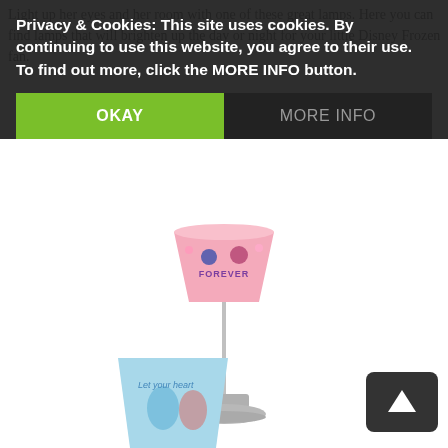Privacy & Cookies: This site uses cookies. By continuing to use this website, you agree to their use. To find out more, click the MORE INFO button.
[Figure (photo): Anna and Elsa Sisters with Flowers Desk Lamp product photo on a white background, showing a pink lampshade with Disney Frozen characters Anna and Elsa, and the word FOREVER, on a silver adjustable pole with a wide base]
Anna and Elsa | Sisters with Flowers Desk Lamp
[Figure (logo): Zazzle brand logo in white italic script on a black rounded rectangle background]
[Figure (photo): Partial view of a second Disney Frozen lamp product at the bottom of the page, showing a blue/teal lampshade with Elsa and Anna]